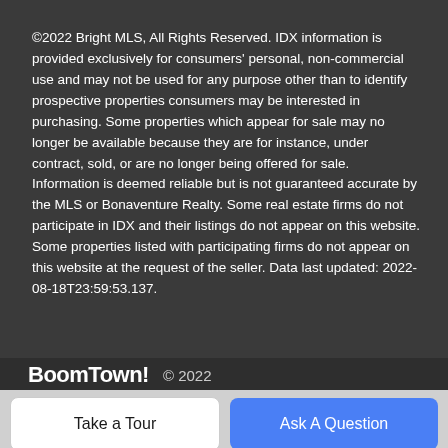©2022 Bright MLS, All Rights Reserved. IDX information is provided exclusively for consumers' personal, non-commercial use and may not be used for any purpose other than to identify prospective properties consumers may be interested in purchasing. Some properties which appear for sale may no longer be available because they are for instance, under contract, sold, or are no longer being offered for sale. Information is deemed reliable but is not guaranteed accurate by the MLS or Bonaventure Realty. Some real estate firms do not participate in IDX and their listings do not appear on this website. Some properties listed with participating firms do not appear on this website at the request of the seller. Data last updated: 2022-08-18T23:59:53.137.
BoomTown! © 2022
Terms of Use | Privacy Policy | Accessibility | DMCA
Take a Tour
Ask A Question